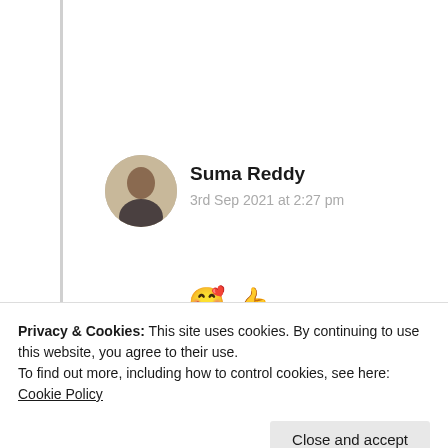[Figure (photo): Circular avatar photo of a person (Suma Reddy)]
Suma Reddy
3rd Sep 2021 at 2:27 pm
🥰 👍
★ Liked by 1 person
Log in to Reply
Advertisements
Privacy & Cookies: This site uses cookies. By continuing to use this website, you agree to their use.
To find out more, including how to control cookies, see here: Cookie Policy
Close and accept
Explore options